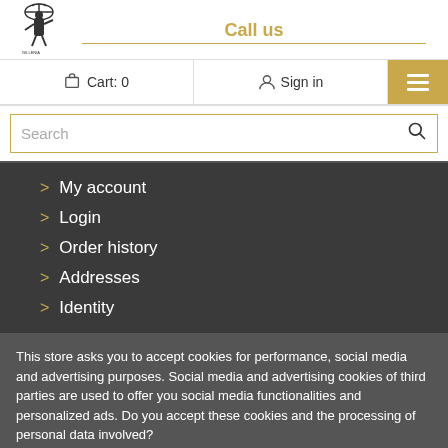[Figure (logo): Store logo with figure holding something aloft, text below]
Call us
Cart: 0
Sign in
Search
> My account
> Login
> Order history
> Addresses
> Identity
This store asks you to accept cookies for performance, social media and advertising purposes. Social media and advertising cookies of third parties are used to offer you social media functionalities and personalized ads. Do you accept these cookies and the processing of personal data involved?
Yes, I accept
More information